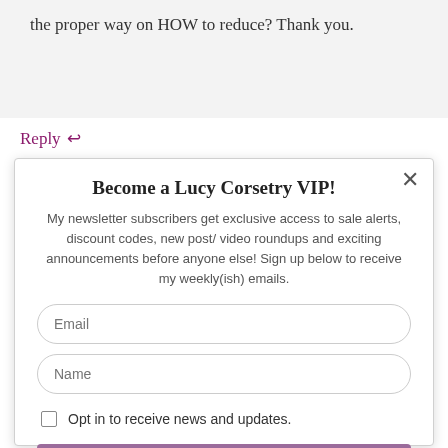the proper way on HOW to reduce? Thank you.
Reply ↩
Become a Lucy Corsetry VIP!
My newsletter subscribers get exclusive access to sale alerts, discount codes, new post/ video roundups and exciting announcements before anyone else! Sign up below to receive my weekly(ish) emails.
Email
Name
Opt in to receive news and updates.
SUBSCRIBE